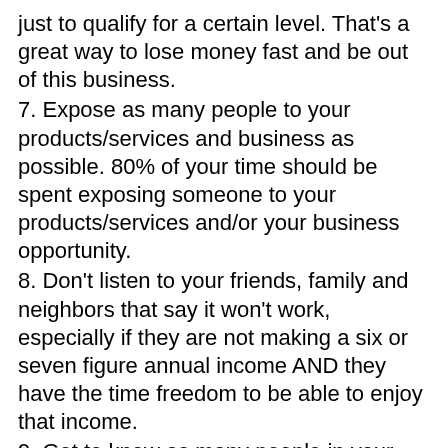just to qualify for a certain level. That's a great way to lose money fast and be out of this business.
7. Expose as many people to your products/services and business as possible. 80% of your time should be spent exposing someone to your products/services and/or your business opportunity.
8. Don't listen to your friends, family and neighbors that say it won't work, especially if they are not making a six or seven figure annual income AND they have the time freedom to be able to enjoy that income.
9. Get to know as many people in your upline as possible. Take advantage of them. However, if your upline isn't good, don't use that as an excuse to quit. Obviously someone is having success in the company. Find them and work with them.
10. The only reason why you should quit is if your